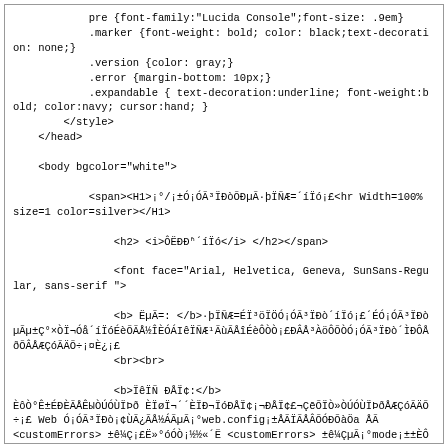pre {font-family:"Lucida Console";font-size: .9em}
            .marker {font-weight: bold; color: black;text-decoration: none;}
            .version {color: gray;}
            .error {margin-bottom: 10px;}
            .expandable { text-decoration:underline; font-weight:bold; color:navy; cursor:hand; }
        </style>
    </head>

    <body bgcolor="white">

            <span><H1>¡°/¡±Ó¡ÓÃ³ÏÐòÕÐµÃ·þÏÑÆ=´íÏó¡£<hr Width=100% size=1 color=silver></H1>

                <h2> <i>ÔËÐÐʱ´íÏó</i> </h2></span>

                <font face="Arial, Helvetica, Geneva, SunSans-Regular, sans-serif ">

                <b> ËµÃ=: </b>·þÏÑÆ=ÉÏ³öÏÖÓ¡ÓÃ³ÏÐò´íÏó¡£´ÉÓ¡ÓÃ³ÏÐòµÃµ±Ç°×ÒÏ¬Óå´íÏóÉèÕÃÅ½ÎÈÓÁIêÏÑÆ¹ÃùÃÅîÉèÔÒÒ¡£ÐÂÅ³ÀöÔÕÒÓ¡ÓÃ³ÏÐò´ÌÐÔÅðÕÂÅÆÇóÃÄÕ÷¡¤È¿¡£
                <br><br>

                <b>ÏêÏÑ ÐÅÏ¢:</b>
ÈôÒ°Ê±ÉÐÈÃÅÊЫÒÚÓÙÏÞð ÈÏøÏ¬´´ÈÏÐ¬ÏóÐÅÏ¢¡¬ÐÅÏ¢£¬ÇēÕÏÒ»ÒÚÓÙÏÞðÅÆÇóÃÄÕ÷¡£ Web Ó¡ÓÃ³ÏÐò¡¢ÙÃ¿ÃÅ½ÁÃµÃ¡°web.config¡±ÅÃÏÃÅÂÕÓÐÕàÖа ÅÃ
&lt;customErrors&gt; ±ê¼Ç¡£Ë»°óÓÒ¡½½«´Ë &lt;customErrors&gt; ±ê¼ÇµÃ¡°mode¡±±ÈÔÐÔÈèÔÅÃÏÎ¡°Off¡±¡£<br><br>

                <table width=100% bgcolor="#ffffcc">
                    <tr>
                        <td>
                            <code><pre>

&lt;!-- Web.Config ÅãÔÅÃÅÂÕ --&gt;